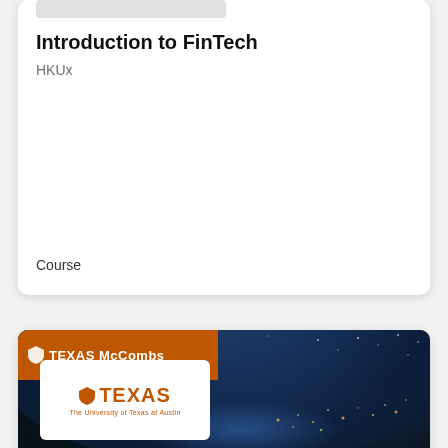Introduction to FinTech
HKUx
Course
[Figure (screenshot): Texas McCombs course card image showing the University of Texas logo on an orange banner and white logo box, with an Earth-from-space background photo]
Fintech: Blockchain for Business and Finance
UTAustinX